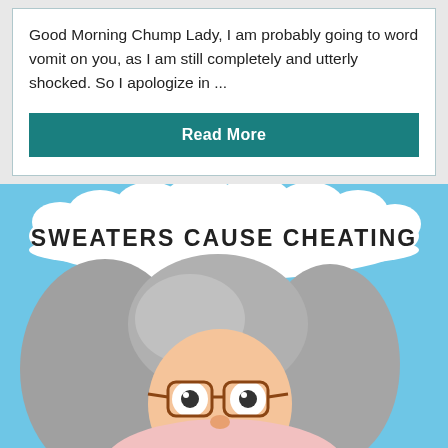Good Morning Chump Lady, I am probably going to word vomit on you, as I am still completely and utterly shocked. So I apologize in ...
Read More
[Figure (illustration): Cartoon illustration of a woman with gray hair and glasses, with a speech bubble saying 'SWEATERS CAUSE CHEATING'. The character appears wide-eyed and surprised against a light blue background. The bottom portion shows a mask or mug held up to the face.]